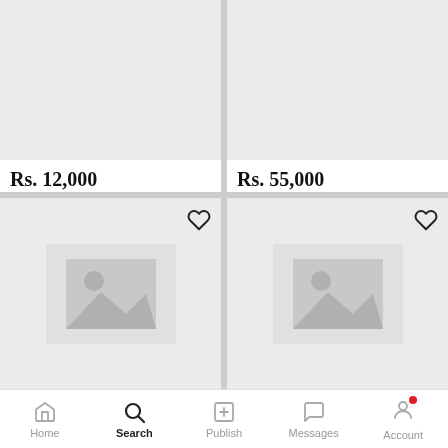[Figure (screenshot): Top-left product card showing price Rs. 12,000 and product name Gaming PC DELL 3400 WIT...]
[Figure (screenshot): Top-right product card showing price Rs. 55,000 and product name Dell Precision M4800 Core ...]
[Figure (screenshot): Bottom-left product card with placeholder image and heart icon, no price shown]
[Figure (screenshot): Bottom-right product card with placeholder image and heart icon, no price shown]
Home  Search  Publish  Messages  Account